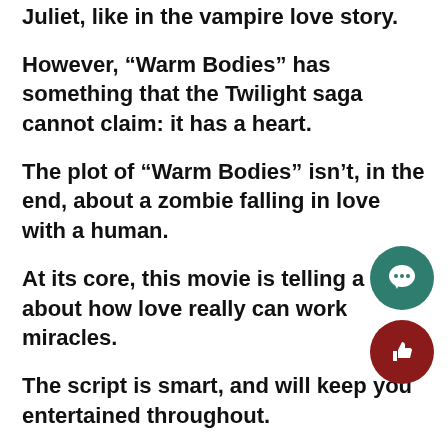Juliet, like in the vampire love story.
However, “Warm Bodies” has something that the Twilight saga cannot claim: it has a heart.
The plot of “Warm Bodies” isn’t, in the end, about a zombie falling in love with a human.
At its core, this movie is telling a story about how love really can work miracles.
The script is smart, and will keep you entertained throughout.
The main character, R, is a lonely zombie who monologues to himself a lot through voiceover, and most of these are extremely witty and hilarious.
The movie also acknowledges its origins in “Romeo and Juliet” and plays it up to the